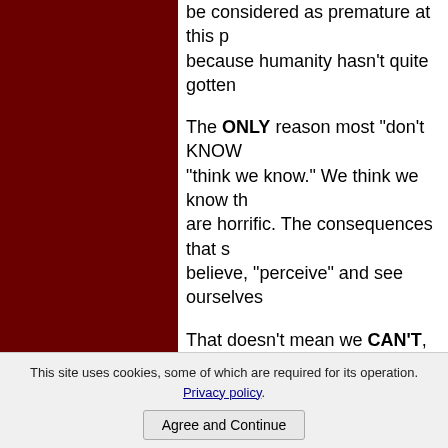be considered as premature at this p... because humanity hasn't quite gotten...
The ONLY reason most "don't KNOW... "think we know." We think we know th... are horrific. The consequences that s... believe, "perceive" and see ourselves...
That doesn't mean we CAN'T, becaus... vast majority has no idea as to HOW... DOES take the many forms it does.
As a result, we simply don't DO what... less than desired events, conditions a... awe inspiring.
One thing is certain. The reality that E... WANT, is one of stark contrast to the...
Have you ever thought about WHY?
This site uses cookies, some of which are required for its operation. Privacy policy